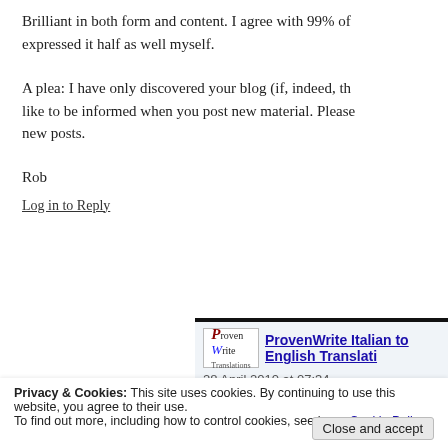Brilliant in both form and content. I agree with 99% of expressed it half as well myself.
A plea: I have only discovered your blog (if, indeed, th like to be informed when you post new material. Please new posts.
Rob
Log in to Reply
[Figure (other): ProvenWrite Italian to English Translation logo and ad block with date 28 April 2010 at 07:34]
Privacy & Cookies: This site uses cookies. By continuing to use this website, you agree to their use. To find out more, including how to control cookies, see here: Cookie Policy
Close and accept